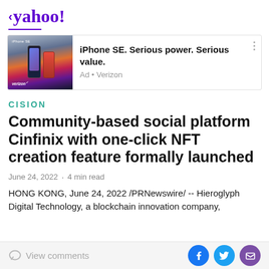< yahoo!
[Figure (screenshot): Advertisement for iPhone SE by Verizon. Shows iPhone SE product image with text 'iPhone SE. Serious power. Serious value.' and 'Ad • Verizon']
CISION
Community-based social platform Cinfinix with one-click NFT creation feature formally launched
June 24, 2022 · 4 min read
HONG KONG, June 24, 2022 /PRNewswire/ -- Hieroglyph Digital Technology, a blockchain innovation company,
View comments